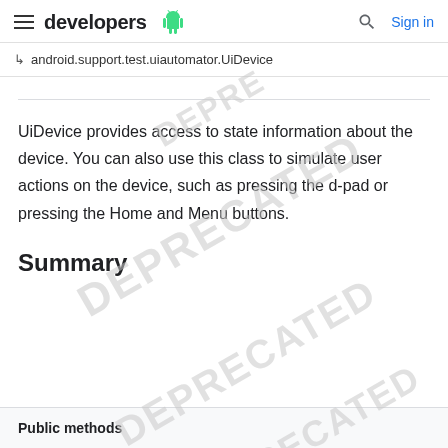developers | Sign in
↳  android.support.test.uiautomator.UiDevice
UiDevice provides access to state information about the device. You can also use this class to simulate user actions on the device, such as pressing the d-pad or pressing the Home and Menu buttons.
Summary
| Public methods |
| --- |